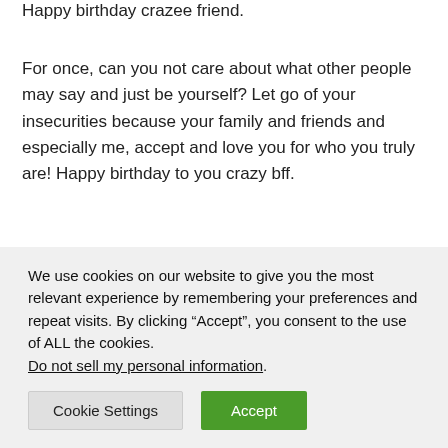Happy birthday crazee friend.
For once, can you not care about what other people may say and just be yourself? Let go of your insecurities because your family and friends and especially me, accept and love you for who you truly are! Happy birthday to you crazy bff.
To the only person I adore, happy birthday to you! You are one of the coolest and craziest people I know and I
We use cookies on our website to give you the most relevant experience by remembering your preferences and repeat visits. By clicking “Accept”, you consent to the use of ALL the cookies.
Do not sell my personal information.
Cookie Settings
Accept